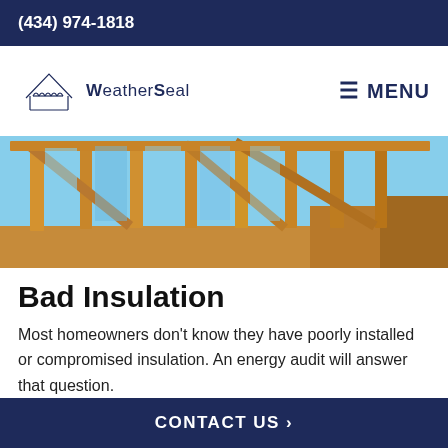(434) 974-1818
[Figure (logo): WeatherSeal logo with architectural line drawing and company name, plus hamburger menu icon and MENU text on right]
[Figure (photo): Construction framing photo showing wooden studs and roof structure against blue sky]
Bad Insulation
Most homeowners don’t know they have poorly installed or compromised insulation. An energy audit will answer that question.
CONTACT US ›